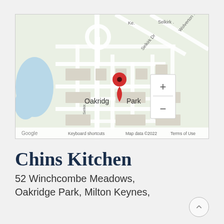[Figure (map): Google Maps screenshot showing Oakridge Park area in Milton Keynes with a red location pin marker, street labels including Selkirk Dr, Wolverton, and zoom controls (+/-). Map data ©2022. Shows Google branding and 'Keyboard shortcuts', 'Map data ©2022', 'Terms of Use' footer.]
Chins Kitchen
52 Winchcombe Meadows, Oakridge Park, Milton Keynes,